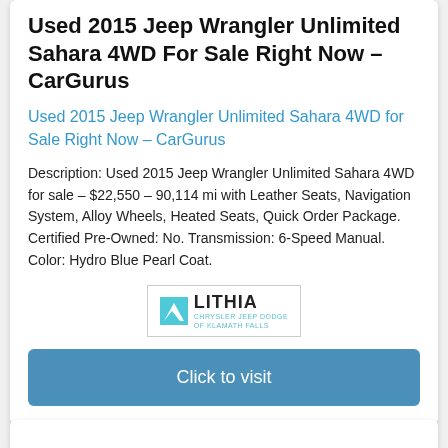Used 2015 Jeep Wrangler Unlimited Sahara 4WD For Sale Right Now – CarGurus
Used 2015 Jeep Wrangler Unlimited Sahara 4WD for Sale Right Now – CarGurus
Description: Used 2015 Jeep Wrangler Unlimited Sahara 4WD for sale – $22,550 – 90,114 mi with Leather Seats, Navigation System, Alloy Wheels, Heated Seats, Quick Order Package. Certified Pre-Owned: No. Transmission: 6-Speed Manual. Color: Hydro Blue Pearl Coat.
[Figure (logo): Lithia Chrysler Jeep Dodge of Klamath Falls logo]
Click to visit